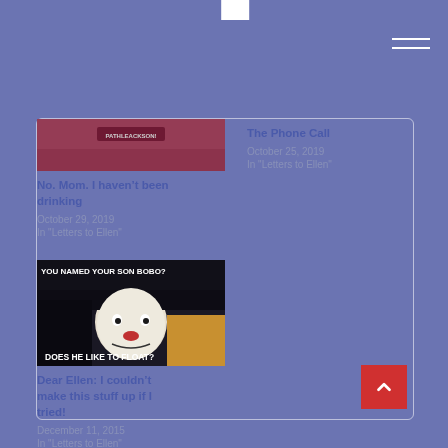[Figure (screenshot): Top partial image showing pink/red background (cropped)]
No. Mom. I haven’t been drinking
October 29, 2019
In "Letters to Ellen"
The Phone Call
October 25, 2019
In "Letters to Ellen"
[Figure (photo): Meme image of Pennywise the clown with text: YOU NAMED YOUR SON BOBO? DOES HE LIKE TO FLOAT?]
Dear Ellen: I couldn’t make this stuff up if I tried!
December 11, 2015
In "Letters to Ellen"